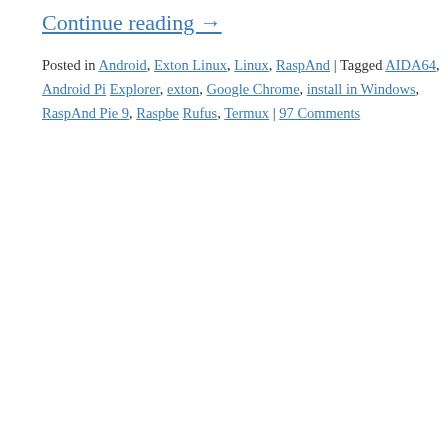Continue reading →
Posted in Android, Exton Linux, Linux, RaspAnd | Tagged AIDA64, Android Pi Explorer, exton, Google Chrome, install in Windows, RaspAnd Pie 9, Raspbe... Rufus, Termux | 97 Comments